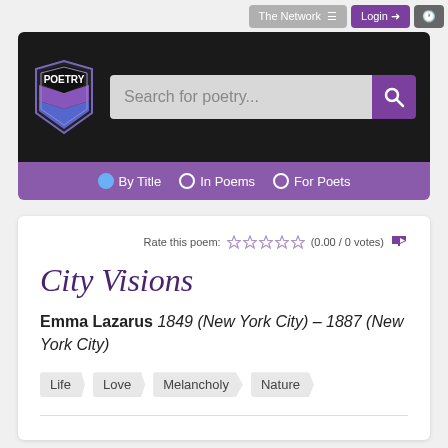The Network ≡  Login →  🕐
[Figure (logo): Poetry Foundation shield logo with POETRY text in white on black and blue/purple shield design]
Search for poetry...
By Title  In Poems  For Poets
Rate this poem: ☆☆☆☆☆ (0.00 / 0 votes) 🔊
City Visions
Emma Lazarus 1849 (New York City) – 1887 (New York City)
Life
Love
Melancholy
Nature